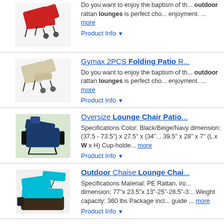[Figure (photo): Two red outdoor rattan lounge chairs with wheels]
Do you want to enjoy the baptism of th... outdoor rattan lounges is perfect cho... enjoyment. ... more
Product Info ▼
[Figure (photo): Two beige/tan outdoor folding patio recliner lounge chairs]
Gymax 2PCS Folding Patio R...
Do you want to enjoy the baptism of th... outdoor rattan lounges is perfect cho... enjoyment. ... more
Product Info ▼
Oversize Lounge Chair Patio...
[Figure (photo): Navy blue oversize patio lounge chair with adjustable back]
Specifications Color: Black/Beige/Navy dimension: (37.5 - 73.5") x 27.5" x (34"... 39.5" x 28" x 7" (L x W x H) Cup-holde... more
Product Info ▼
Outdoor Chaise Lounge Chai...
[Figure (photo): Turquoise/teal outdoor chaise lounge chair with canopy and dark wicker base]
Specifications Material: PE Rattan, iro... dimension: 77"x 23.5"x 13"-25"-28.5"-3... Weight capacity: 360 lbs Package incl... guide ... more
Product Info ▼
Outsunny Garden Rocking Su...
[Figure (photo): Outsunny garden rocking sun lounger chair]
Imagine the pure relaxation of rocking... this rocking lounge chair from Outsu...